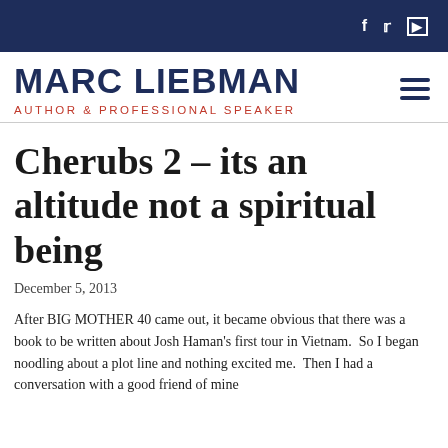f  t  ▶
MARC LIEBMAN
AUTHOR & PROFESSIONAL SPEAKER
Cherubs 2 – its an altitude not a spiritual being
December 5, 2013
After BIG MOTHER 40 came out, it became obvious that there was a book to be written about Josh Haman's first tour in Vietnam.  So I began noodling about a plot line and nothing excited me.  Then I had a conversation with a good friend of mine